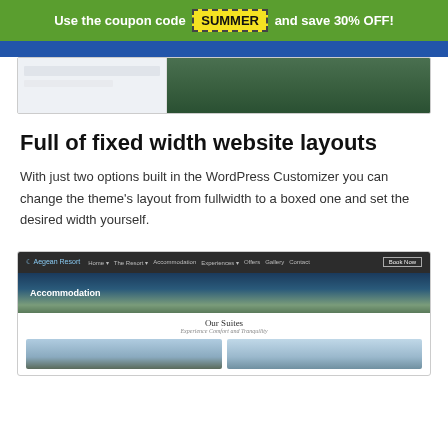Use the coupon code SUMMER and save 30% OFF!
[Figure (screenshot): Partial screenshot of Aegean Resort website top section showing a landscape image]
Full of fixed width website layouts
With just two options built in the WordPress Customizer you can change the theme's layout from fullwidth to a boxed one and set the desired width yourself.
[Figure (screenshot): Screenshot of Aegean Resort website showing navigation bar, Accommodation hero image, Our Suites section with two suite thumbnail images]